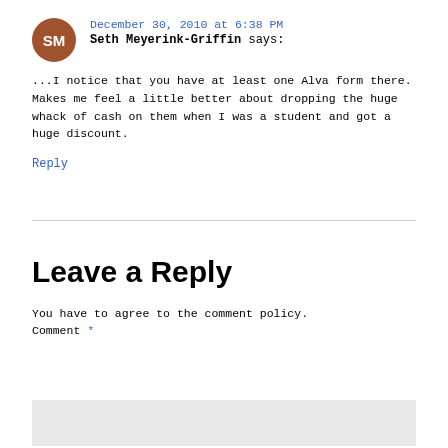December 30, 2010 at 6:38 PM
Seth Meyerink-Griffin says:
...I notice that you have at least one Alva form there. Makes me feel a little better about dropping the huge whack of cash on them when I was a student and got a huge discount.
Reply
Leave a Reply
You have to agree to the comment policy.
Comment *